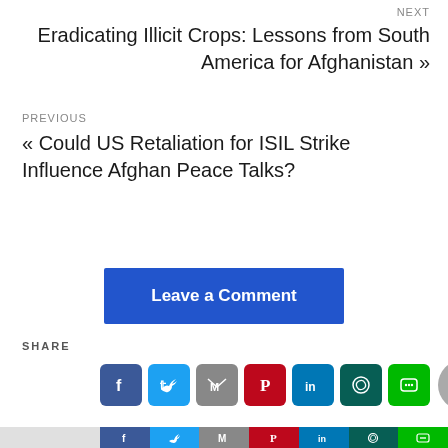NEXT
Eradicating Illicit Crops: Lessons from South America for Afghanistan »
PREVIOUS
« Could US Retaliation for ISIL Strike Influence Afghan Peace Talks?
Leave a Comment
SHARE
[Figure (infographic): Social share icons: Facebook, Twitter, Gmail, Pinterest, LinkedIn, WhatsApp, LINE, and a scroll-to-top button]